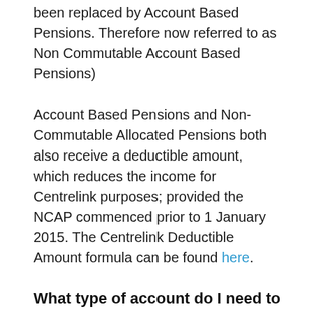been replaced by Account Based Pensions. Therefore now referred to as Non Commutable Account Based Pensions)
Account Based Pensions and Non-Commutable Allocated Pensions both also receive a deductible amount, which reduces the income for Centrelink purposes; provided the NCAP commenced prior to 1 January 2015. The Centrelink Deductible Amount formula can be found here.
What type of account do I need to